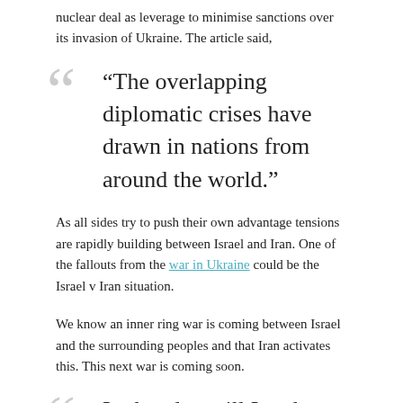nuclear deal as leverage to minimise sanctions over its invasion of Ukraine. The article said,
“The overlapping diplomatic crises have drawn in nations from around the world.”
As all sides try to push their own advantage tensions are rapidly building between Israel and Iran. One of the fallouts from the war in Ukraine could be the Israel v Iran situation.
We know an inner ring war is coming between Israel and the surrounding peoples and that Iran activates this. This next war is coming soon.
In that day will I make the governors